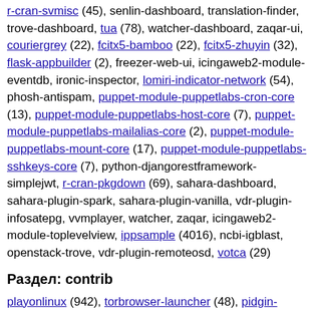r-cran-svmisc (45), senlin-dashboard, translation-finder, trove-dashboard, tua (78), watcher-dashboard, zaqar-ui, couriergrey (22), fcitx5-bamboo (22), fcitx5-zhuyin (32), flask-appbuilder (2), freezer-web-ui, icingaweb2-module-eventdb, ironic-inspector, lomiri-indicator-network (54), phosh-antispam, puppet-module-puppetlabs-cron-core (13), puppet-module-puppetlabs-host-core (7), puppet-module-puppetlabs-mailalias-core (2), puppet-module-puppetlabs-mount-core (17), puppet-module-puppetlabs-sshkeys-core (7), python-djangorestframework-simplejwt, r-cran-pkgdown (69), sahara-dashboard, sahara-plugin-spark, sahara-plugin-vanilla, vdr-plugin-infosatepg, vvmplayer, watcher, zaqar, icingaweb2-module-toplevelview, ippsample (4016), ncbi-igblast, openstack-trove, vdr-plugin-remoteosd, votca (29)
Раздел: contrib
playonlinux (942), torbrowser-launcher (48), pidgin-skype (67), lutris, sabnzbdplus (14), gst-plugins-bad1.0-contrib (29),